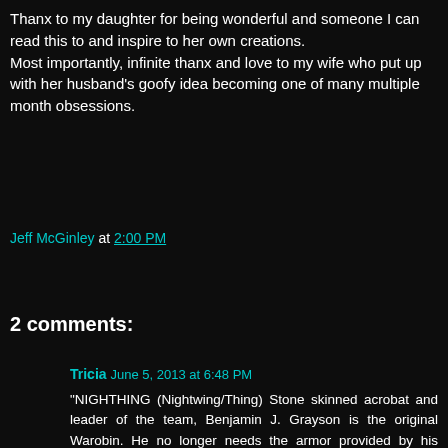Thanx to my daughter for being wonderful and someone I can read this to and inspire to her own creations. Most importantly, infinite thanx and love to my wife who put up with her husband's goofy idea becoming one of many multiple month obsessions.
Jeff McGinley at 2:00 PM
Share
2 comments:
Tricia June 5, 2013 at 6:48 PM
"NIGHTHING (Nightwing/Thing) Stone skinned acrobat and leader of the team, Benjamin J. Grayson is the original Warobin. He no longer needs the armor provided by his mentor after exposure to cosmic rays granted him an invulnerable hide that blends into the shadows."
I don't know how to pronounce Ben's codename. Could you please help?